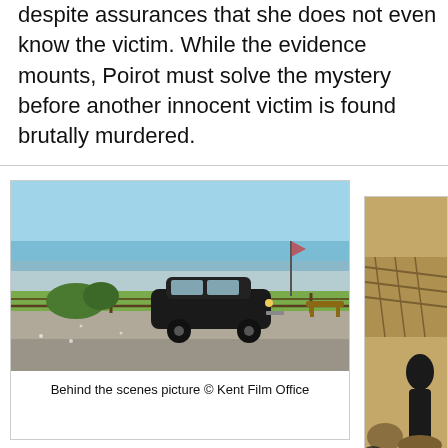despite assurances that she does not even know the victim. While the evidence mounts, Poirot must solve the mystery before another innocent victim is found brutally murdered.
[Figure (photo): Behind the scenes photo of a vintage black car parked near a seaside promenade with a green lawn, wooden fence, and sea in the background under a clear blue sky.]
Behind the scenes picture © Kent Film Office
[Figure (photo): Partially visible photo showing outdoor scene with ropes or nets and a figure, likely Poirot (David Suchet) with actor Jaime Winstone.]
Poirot (D... (Jaime Wi...